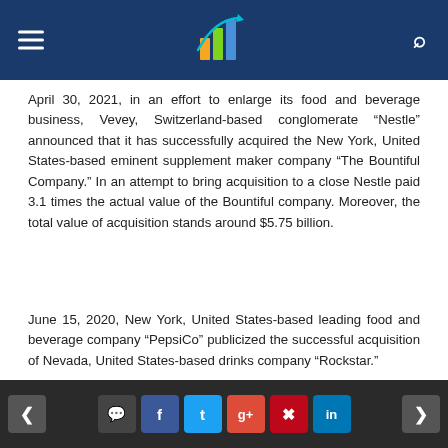April 30, 2021, in an effort to enlarge its food and beverage business, Vevey, Switzerland-based conglomerate “Nestle” announced that it has successfully acquired the New York, United States-based eminent supplement maker company “The Bountiful Company.” In an attempt to bring acquisition to a close Nestle paid 3.1 times the actual value of the Bountiful company. Moreover, the total value of acquisition stands around $5.75 billion.
June 15, 2020, New York, United States-based leading food and beverage company “PepsiCo” publicized the successful acquisition of Nevada, United States-based drinks company “Rockstar.”
< comment f t g+ p in >